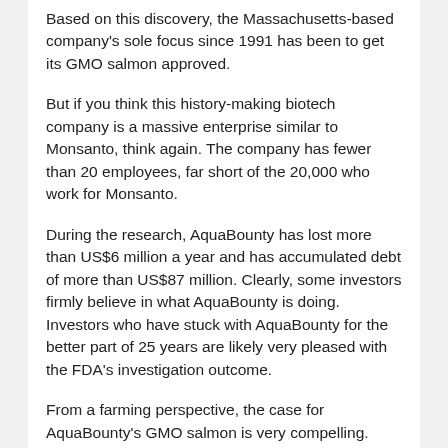Based on this discovery, the Massachusetts-based company's sole focus since 1991 has been to get its GMO salmon approved.
But if you think this history-making biotech company is a massive enterprise similar to Monsanto, think again. The company has fewer than 20 employees, far short of the 20,000 who work for Monsanto.
During the research, AquaBounty has lost more than US$6 million a year and has accumulated debt of more than US$87 million. Clearly, some investors firmly believe in what AquaBounty is doing. Investors who have stuck with AquaBounty for the better part of 25 years are likely very pleased with the FDA's investigation outcome.
From a farming perspective, the case for AquaBounty's GMO salmon is very compelling. These fish can grow